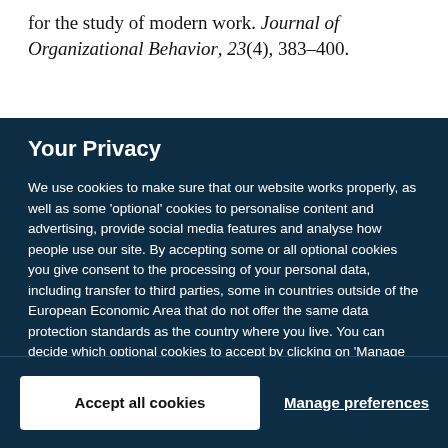for the study of modern work. Journal of Organizational Behavior, 23(4), 383–400.
Your Privacy
We use cookies to make sure that our website works properly, as well as some 'optional' cookies to personalise content and advertising, provide social media features and analyse how people use our site. By accepting some or all optional cookies you give consent to the processing of your personal data, including transfer to third parties, some in countries outside of the European Economic Area that do not offer the same data protection standards as the country where you live. You can decide which optional cookies to accept by clicking on 'Manage Settings', where you can also find more information about how your personal data is processed. Further information can be found in our privacy policy.
Accept all cookies
Manage preferences